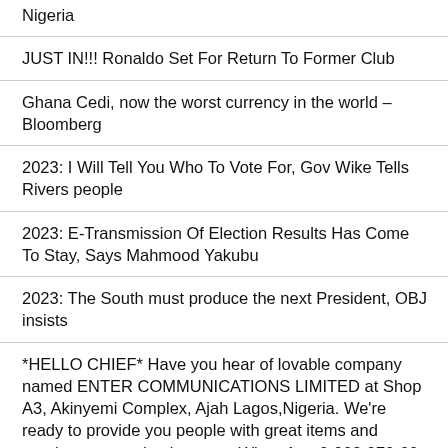Nigeria
JUST IN!!! Ronaldo Set For Return To Former Club
Ghana Cedi, now the worst currency in the world – Bloomberg
2023: I Will Tell You Who To Vote For, Gov Wike Tells Rivers people
2023: E-Transmission Of Election Results Has Come To Stay, Says Mahmood Yakubu
2023: The South must produce the next President, OBJ insists
*HELLO CHIEF* Have you hear of lovable company named ENTER COMMUNICATIONS LIMITED at Shop A3, Akinyemi Complex, Ajah Lagos,Nigeria. We're ready to provide you people with great items and repair, you can check out our WhatsApp 0-903-979-00-34 or Instagram help center for more information: [📱enter.mobile📱]. We have put a lot of effort into it the